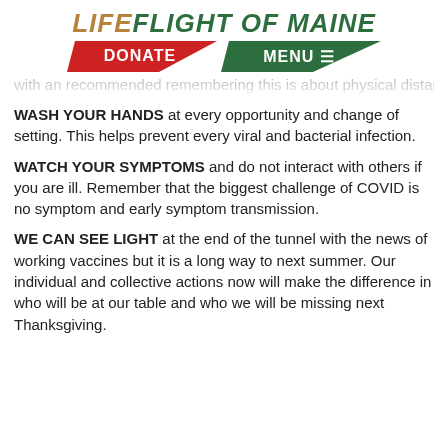LIFEFLIGHT OF MAINE
DONATE   MENU
... remembering this is about physical distance not social distance.
WASH YOUR HANDS at every opportunity and change of setting. This helps prevent every viral and bacterial infection.
WATCH YOUR SYMPTOMS and do not interact with others if you are ill. Remember that the biggest challenge of COVID is no symptom and early symptom transmission.
WE CAN SEE LIGHT at the end of the tunnel with the news of working vaccines but it is a long way to next summer. Our individual and collective actions now will make the difference in who will be at our table and who we will be missing next Thanksgiving.